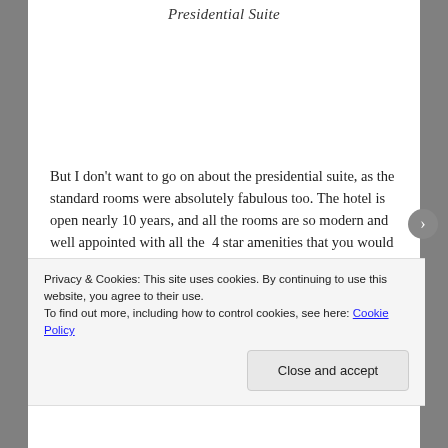Presidential Suite
But I don't want to go on about the presidential suite, as the standard rooms were absolutely fabulous too. The hotel is open nearly 10 years, and all the rooms are so modern and well appointed with all the  4 star amenities that you would expect (some hotels did cut back on these little touches during the recession but this hotel certainly didn't!). They kept their standards very high and that was clear to see. (We both work in the hospitality industry so we can spot
Privacy & Cookies: This site uses cookies. By continuing to use this website, you agree to their use.
To find out more, including how to control cookies, see here: Cookie Policy
Close and accept